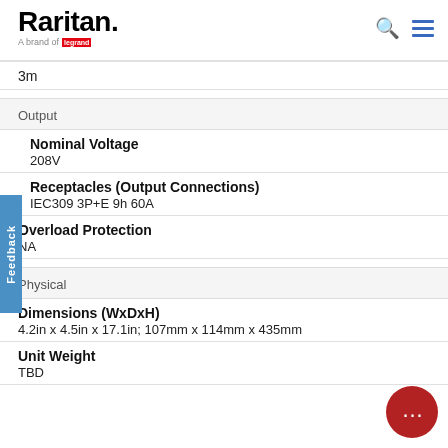Raritan. A brand of Legrand
3m
Output
Nominal Voltage
208V
Receptacles (Output Connections)
IEC309 3P+E 9h 60A
Overload Protection
NA
Physical
Dimensions (WxDxH)
4.2in x 4.5in x 17.1in; 107mm x 114mm x 435mm
Unit Weight
TBD